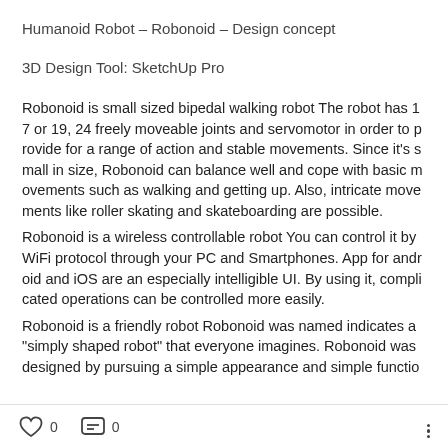Humanoid Robot – Robonoid – Design concept
3D Design Tool: SketchUp Pro
Robonoid is small sized bipedal walking robot The robot has 17 or 19, 24 freely moveable joints and servomotor in order to provide for a range of action and stable movements. Since it's small in size, Robonoid can balance well and cope with basic movements such as walking and getting up. Also, intricate movements like roller skating and skateboarding are possible.
Robonoid is a wireless controllable robot You can control it by WiFi protocol through your PC and Smartphones. App for android and iOS are an especially intelligible UI. By using it, complicated operations can be controlled more easily.
Robonoid is a friendly robot Robonoid was named indicates a "simply shaped robot" that everyone imagines. Robonoid was designed by pursuing a simple appearance and simple functio
0   0